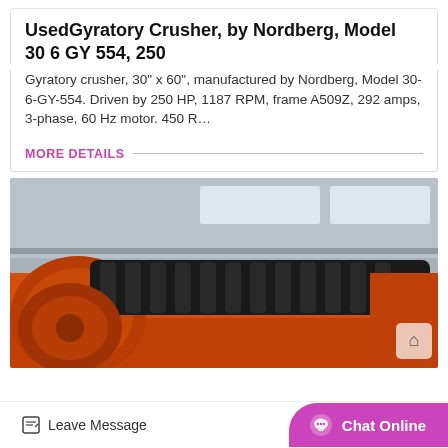UsedGyratory Crusher, by Nordberg, Model 30 6 GY 554, 250
Gyratory crusher, 30" x 60", manufactured by Nordberg, Model 30-6-GY-554. Driven by 250 HP, 1187 RPM, frame A509Z, 292 amps, 3-phase, 60 Hz motor. 450 R…
MORE DETAILS
[Figure (photo): Photo of a large orange industrial gyratory crusher machine in a warehouse/factory setting. The machine has a prominent orange metal body with black rollers/belts visible on top. The background shows a grey industrial building interior with high windows.]
Leave Message
Chat Online